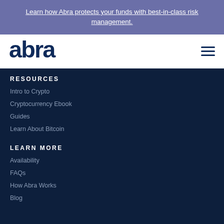Learn how Abra protects your funds with best-in-class risk management.
[Figure (logo): Abra company logo in dark navy blue]
RESOURCES
Intro to Crypto
Cryptocurrency Ebook
Guides
Learn About Bitcoin
LEARN MORE
Availability
FAQs
How Abra Works
Blog